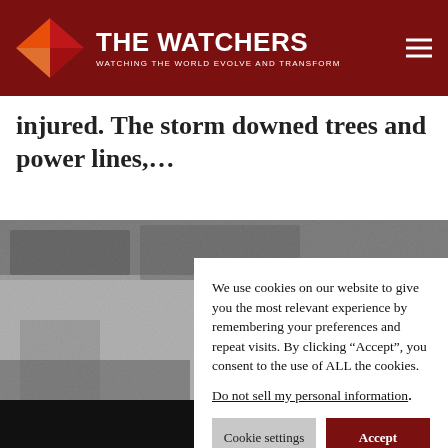THE WATCHERS — WATCHING THE WORLD EVOLVE AND TRANSFORM
injured. The storm downed trees and power lines,...
[Figure (photo): Grayscale photograph showing snow-covered ground and structures, partially obscured by a cookie consent overlay]
We use cookies on our website to give you the most relevant experience by remembering your preferences and repeat visits. By clicking “Accept”, you consent to the use of ALL the cookies.
Do not sell my personal information.